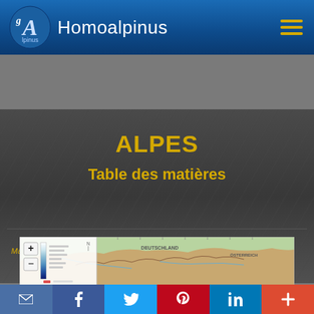Homoalpinus
ALPES
Table des matières
Search...
Mardi 6 Septembre 2022 02:38:03
[Figure (map): Interactive map of the Alps region showing DEUTSCHLAND, ÖSTERREICH, FRANCE and surrounding areas with topographic relief and zoom controls]
Share bar with email, Facebook, Twitter, Pinterest, LinkedIn, and plus icons